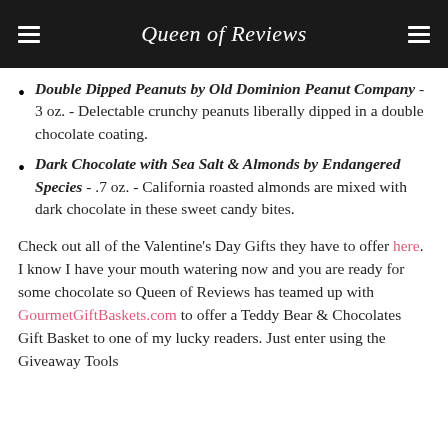Queen of Reviews
Double Dipped Peanuts by Old Dominion Peanut Company - 3 oz. - Delectable crunchy peanuts liberally dipped in a double chocolate coating.
Dark Chocolate with Sea Salt & Almonds by Endangered Species - .7 oz. - California roasted almonds are mixed with dark chocolate in these sweet candy bites.
Check out all of the Valentine's Day Gifts they have to offer here. I know I have your mouth watering now and you are ready for some chocolate so Queen of Reviews has teamed up with GourmetGiftBaskets.com to offer a Teddy Bear & Chocolates Gift Basket to one of my lucky readers. Just enter using the Giveaway Tools